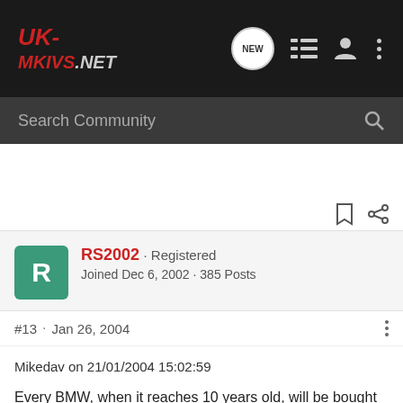UK-MKVS.NET
Search Community
RS2002 · Registered
Joined Dec 6, 2002 · 385 Posts
#13 · Jan 26, 2004
Mikedav on 21/01/2004 15:02:59
Every BMW, when it reaches 10 years old, will be bought by a muppet. It is every BMWs destiny unfortunately. He will think he